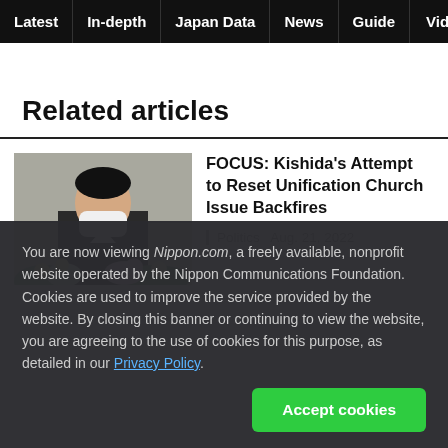Latest | In-depth | Japan Data | News | Guide | Video
Related articles
[Figure (photo): Photo of a man wearing a white mask at a podium with flowers, likely a press conference or official event]
FOCUS: Kishida's Attempt to Reset Unification Church Issue Backfires
Politics  Aug. 21, 2022
You are now viewing Nippon.com, a freely available, nonprofit website operated by the Nippon Communications Foundation. Cookies are used to improve the service provided by the website. By closing this banner or continuing to view the website, you are agreeing to the use of cookies for this purpose, as detailed in our Privacy Policy.
Accept cookies